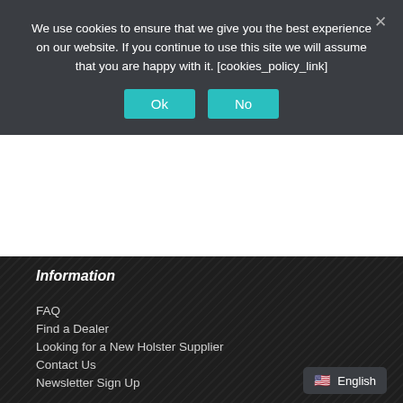We use cookies to ensure that we give you the best experience on our website. If you continue to use this site we will assume that you are happy with it. [cookies_policy_link]
FAQ
Find a Dealer
Looking for a New Holster Supplier
Contact Us
Newsletter Sign Up
Mon-Wed, Fri: 9am-5pm
Thurs: 9am-7pm